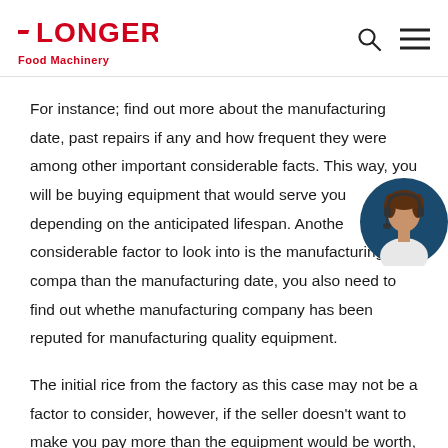LONGER Food Machinery
For instance; find out more about the manufacturing date, past repairs if any and how frequent they were among other important considerable facts. This way, you will be buying equipment that would serve you depending on the anticipated lifespan. Another considerable factor to look into is the manufacturing company than the manufacturing date, you also need to find out whether the manufacturing company has been reputed for manufacturing quality equipment.
[Figure (illustration): Circular avatar illustration of a customer service representative wearing a headset, on a dark blue background]
The initial rice from the factory as this case may not be a factor to consider, however, if the seller doesn't want to make you pay more than the equipment would be worth, he or she may tell you on the